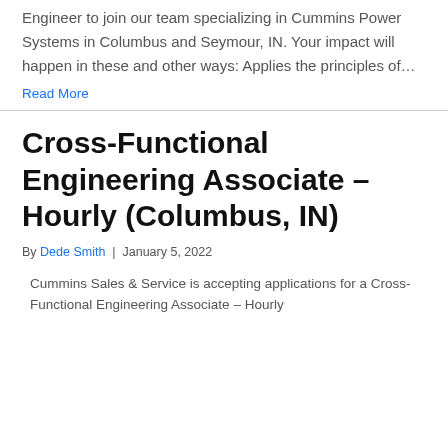Engineer to join our team specializing in Cummins Power Systems in Columbus and Seymour, IN. Your impact will happen in these and other ways: Applies the principles of…
Read More
Cross-Functional Engineering Associate – Hourly (Columbus, IN)
By Dede Smith | January 5, 2022
Cummins Sales & Service is accepting applications for a Cross-Functional Engineering Associate – Hourly